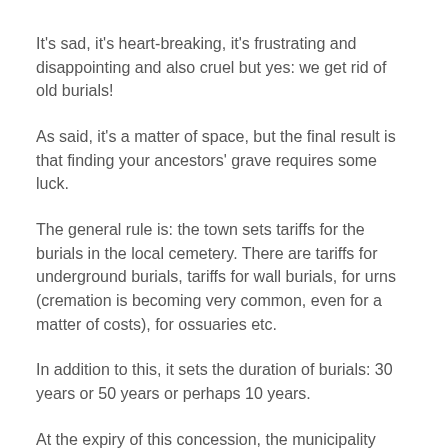It's sad, it's heart-breaking, it's frustrating and disappointing and also cruel but yes: we get rid of old burials!
As said, it's a matter of space, but the final result is that finding your ancestors' grave requires some luck.
The general rule is: the town sets tariffs for the burials in the local cemetery. There are tariffs for underground burials, tariffs for wall burials, for urns (cremation is becoming very common, even for a matter of costs), for ossuaries etc.
In addition to this, it sets the duration of burials: 30 years or 50 years or perhaps 10 years.
At the expiry of this concession, the municipality calls the family and proposes several options.